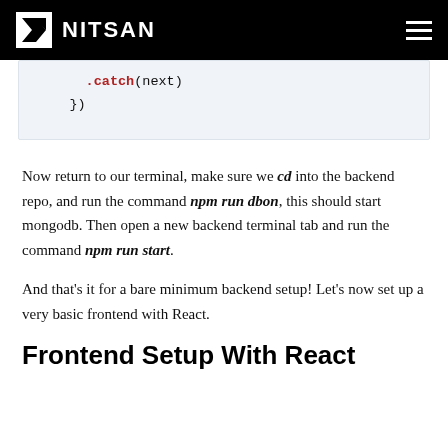NITSAN
[Figure (screenshot): Code block showing .catch(next) and })]
Now return to our terminal, make sure we cd into the backend repo, and run the command npm run dbon, this should start mongodb. Then open a new backend terminal tab and run the command npm run start.
And that's it for a bare minimum backend setup! Let's now set up a very basic frontend with React.
Frontend Setup With React